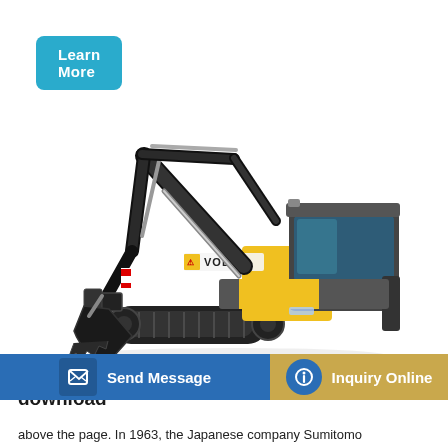Learn More
[Figure (photo): A black and yellow Volvo tracked excavator on a white background, shown in profile view with the arm extended and bucket lowered.]
SUMITOMO Excavator Manuals PDF free download
Send Message
Inquiry Online
above the page. In 1963, the Japanese company Sumitomo